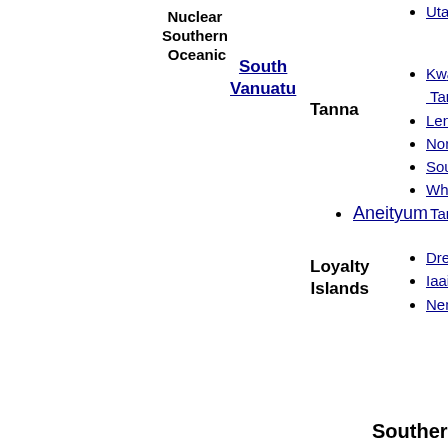Nuclear Southern Oceanic
South Vanuatu
Tanna
Uta
Kwa... Tan...
Len...
Nor...
Sou...
Wh... Tan...
Aneityum
Loyalty Islands
Dre...
Iaai...
Nem...
Southern